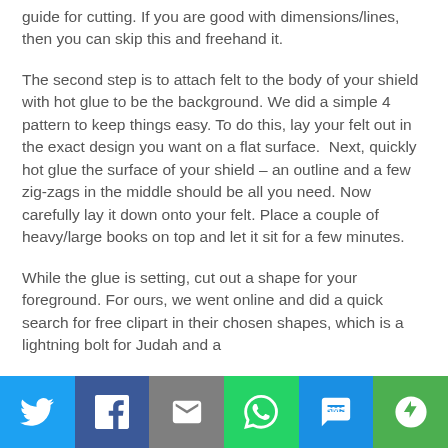guide for cutting. If you are good with dimensions/lines, then you can skip this and freehand it.
The second step is to attach felt to the body of your shield with hot glue to be the background. We did a simple 4 pattern to keep things easy. To do this, lay your felt out in the exact design you want on a flat surface.  Next, quickly hot glue the surface of your shield – an outline and a few zig-zags in the middle should be all you need. Now carefully lay it down onto your felt. Place a couple of heavy/large books on top and let it sit for a few minutes.
While the glue is setting, cut out a shape for your foreground. For ours, we went online and did a quick search for free clipart in their chosen shapes, which is a lightning bolt for Judah and a
[Figure (infographic): Social media share bar with six buttons: Twitter (blue), Facebook (dark blue), Email (gray), WhatsApp (green), SMS (blue), More (green)]